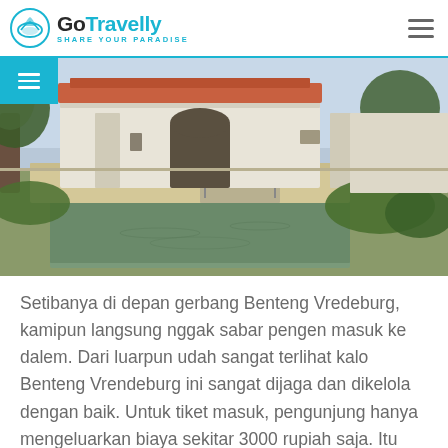GoTravelly SHARE YOUR PARADISE
[Figure (photo): Exterior view of Benteng Vredeburg fort showing a water-filled moat, a bridge crossing the moat, white colonial-era building walls, large trees, and manicured green hedges under a clear sky.]
Setibanya di depan gerbang Benteng Vredeburg, kamipun langsung nggak sabar pengen masuk ke dalem. Dari luarpun udah sangat terlihat kalo Benteng Vrendeburg ini sangat dijaga dan dikelola dengan baik. Untuk tiket masuk, pengunjung hanya mengeluarkan biaya sekitar 3000 rupiah saja. Itu kalian udah bisa keliling area Benteng Vredeburg dengan puas lho, sampe